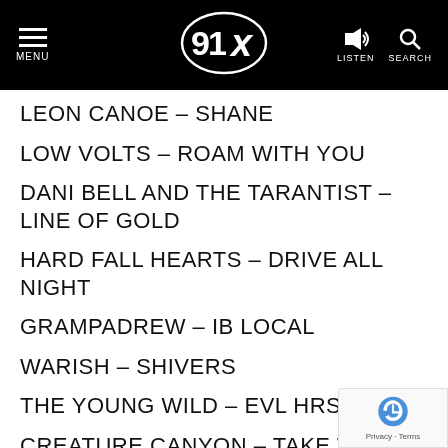91X - MENU, LISTEN, SEARCH
LEON CANOE – SHANE
LOW VOLTS – ROAM WITH YOU
DANI BELL AND THE TARANTIST – LINE OF GOLD
HARD FALL HEARTS – DRIVE ALL NIGHT
GRAMPADREW – IB LOCAL
WARISH – SHIVERS
THE YOUNG WILD – EVL HRS
CREATURE CANYON – TAKE WHAT YOU WANT
THE FRETS – BREAK ME